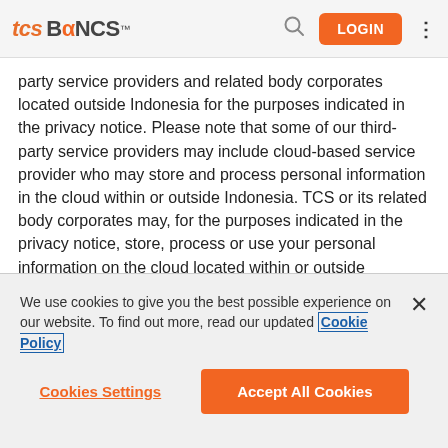TCS BaNCS™ – navigation bar with LOGIN button
party service providers and related body corporates located outside Indonesia for the purposes indicated in the privacy notice. Please note that some of our third-party service providers may include cloud-based service provider who may store and process personal information in the cloud within or outside Indonesia. TCS or its related body corporates may, for the purposes indicated in the privacy notice, store, process or use your personal information on the cloud located within or outside Indonesia. It is TCS's policy which requires TCS to share your personal information
We use cookies to give you the best possible experience on our website. To find out more, read our updated Cookie Policy
Cookies Settings
Accept All Cookies